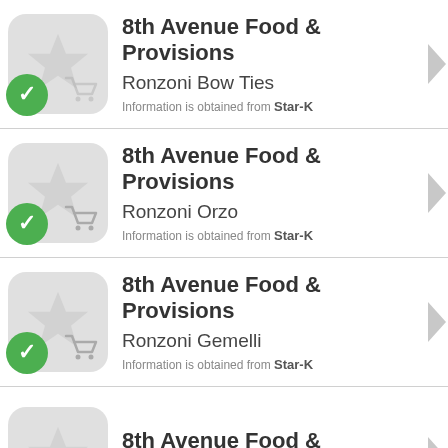8th Avenue Food & Provisions
Ronzoni Bow Ties
Information is obtained from Star-K
8th Avenue Food & Provisions
Ronzoni Orzo
Information is obtained from Star-K
8th Avenue Food & Provisions
Ronzoni Gemelli
Information is obtained from Star-K
8th Avenue Food & Provisions